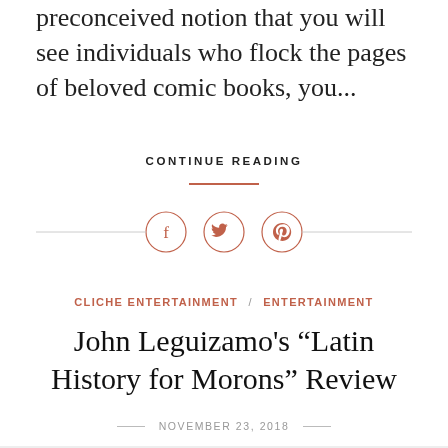preconceived notion that you will see individuals who flock the pages of beloved comic books, you...
CONTINUE READING
[Figure (infographic): Three social sharing icons in circles: Facebook (f), Twitter (bird), Pinterest (P), styled in salmon/coral color on white background with horizontal lines on each side]
CLICHE ENTERTAINMENT / ENTERTAINMENT
John Leguizamo's “Latin History for Morons” Review
NOVEMBER 23, 2018